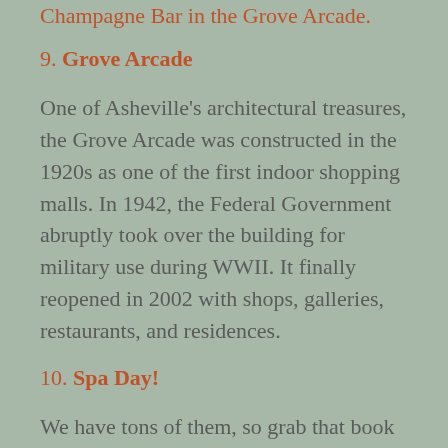Champagne Bar in the Grove Arcade.
9. Grove Arcade
One of Asheville’s architectural treasures, the Grove Arcade was constructed in the 1920s as one of the first indoor shopping malls. In 1942, the Federal Government abruptly took over the building for military use during WWII. It finally reopened in 2002 with shops, galleries, restaurants, and residences.
10. Spa Day!
We have tons of them, so grab that book you just bought and head for some